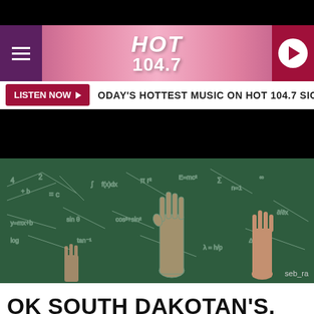[Figure (logo): HOT 104.7 radio station logo with hamburger menu and play button]
LISTEN NOW ▶  TODAY'S HOTTEST MUSIC ON HOT 104.7 SIOUX FALLS
[Figure (photo): Students raising hands in classroom with chalkboard in background covered in math equations. Photo credit: seb_ra]
OK SOUTH DAKOTAN'S, WHO WAS